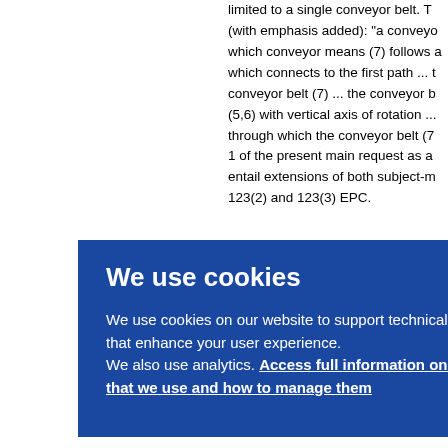limited to a single conveyor belt. T (with emphasis added): "a conveyo which conveyor means (7) follows a which connects to the first path ... t conveyor belt (7) ... the conveyor b (5,6) with vertical axis of rotation ... through which the conveyor belt (7) 1 of the present main request as a entail extensions of both subject-m 123(2) and 123(3) EPC.
We use cookies

We use cookies on our website to support technical features that enhance your user experience.
We also use analytics. Access full information on cookies that we use and how to manage them